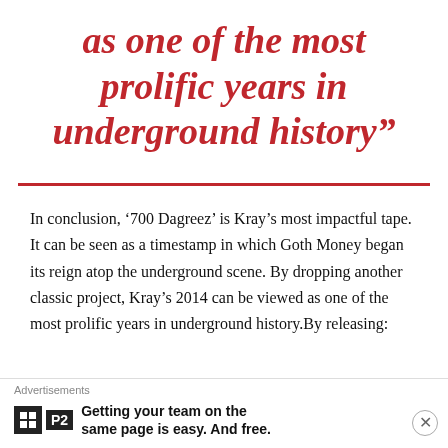as one of the most prolific years in underground history”
In conclusion, ‘700 Dagreez’ is Kray’s most impactful tape. It can be seen as a timestamp in which Goth Money began its reign atop the underground scene. By dropping another classic project, Kray’s 2014 can be viewed as one of the most prolific years in underground history.By releasing:
Advertisements
Getting your team on the same page is easy. And free.